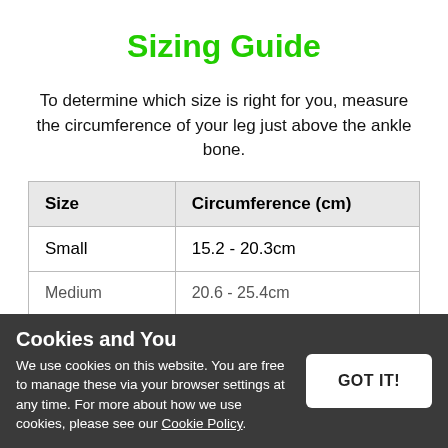Sizing Guide
To determine which size is right for you, measure the circumference of your leg just above the ankle bone.
| Size | Circumference (cm) |
| --- | --- |
| Small | 15.2 - 20.3cm |
| Medium | 20.6 - 25.4cm |
| Large | 25.7 - 30.5cm |
| Extra Large | 30.8 - 36.8cm |
Cookies and You
We use cookies on this website. You are free to manage these via your browser settings at any time. For more about how we use cookies, please see our Cookie Policy.